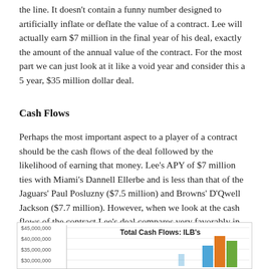the line. It doesn't contain a funny number designed to artificially inflate or deflate the value of a contract. Lee will actually earn $7 million in the final year of his deal, exactly the amount of the annual value of the contract. For the most part we can just look at it like a void year and consider this a 5 year, $35 million dollar deal.
Cash Flows
Perhaps the most important aspect to a player of a contract should be the cash flows of the deal followed by the likelihood of earning that money. Lee's APY of $7 million ties with Miami's Dannell Ellerbe and is less than that of the Jaguars' Paul Posluzny ($7.5 million) and Browns' D'Qwell Jackson ($7.7 million). However, when we look at the cash flows of the contract Lee's deal compares very favorably in the initial stages, despite being a smaller contract than Posluzny's and Jackson's.
[Figure (bar-chart): Partially visible grouped bar chart showing total cash flows for ILBs, with y-axis labels at $45,000,000, $40,000,000, $35,000,000, and continuing below. Colors include blue, orange, and green bars visible at right side of chart.]